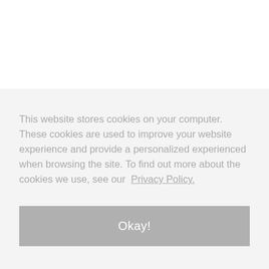This website stores cookies on your computer. These cookies are used to improve your website experience and provide a personalized experienced when browsing the site. To find out more about the cookies we use, see our Privacy Policy.
Okay!